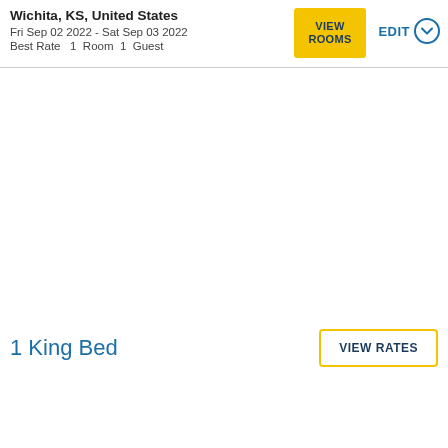Wichita, KS, United States
Fri Sep 02 2022 - Sat Sep 03 2022
Best Rate   1  Room  1  Guest
VIEW ROOMS
EDIT
1 King Bed
VIEW RATES